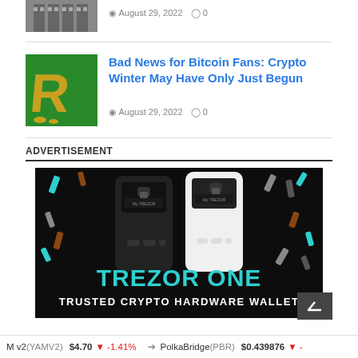[Figure (photo): Thumbnail of a building (partially visible at top)]
August 29, 2022  0
[Figure (logo): Green background with gold letter R logo]
Bad News for Bitcoin Fans: Crypto Winter May Have Only Just Begun
August 29, 2022  0
ADVERTISEMENT
[Figure (photo): Trezor One hardware wallet advertisement showing two Trezor devices on black background with colorful confetti, text reading TREZOR ONE TRUSTED CRYPTO HARDWARE WALLET]
M v2(YAMV2)  $4.70  -1.41%   PolkaBridge(PBR)  $0.439876